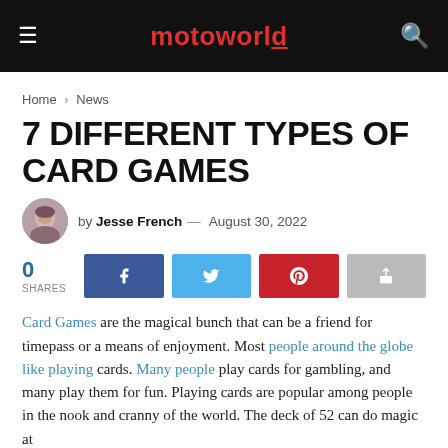motoworld
Home > News
7 DIFFERENT TYPES OF CARD GAMES
by Jesse French — August 30, 2022
0 SHARES
Card Games are the magical bunch that can be a friend for timepass or a means of enjoyment. Most people around the globe like playing cards. Many people play cards for gambling, and many play them for fun. Playing cards are popular among people in the nook and cranny of the world. The deck of 52 can do magic at